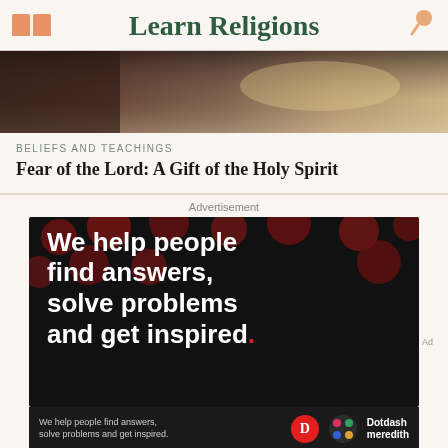Learn Religions
[Figure (photo): Hero image showing a dark wooden table surface with light reflecting off it]
BELIEFS AND TEACHINGS
Fear of the Lord: A Gift of the Holy Spirit
Advertisement
[Figure (photo): Advertisement image on black background with dark red polka dots. White bold text reads: We help people find answers, solve problems and get inspired. Footer bar with Dotdash Meredith branding.]